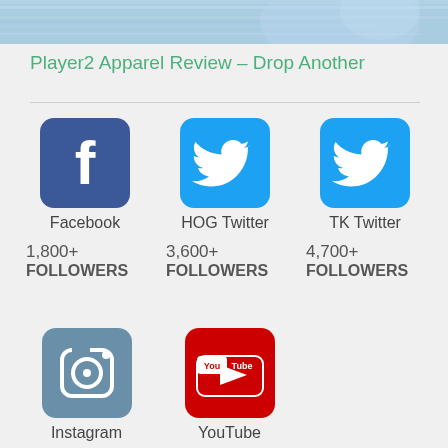[Figure (photo): Cropped top portion of a person wearing blue apparel]
Player2 Apparel Review – Drop Another
[Figure (infographic): Social media statistics infographic showing Facebook (1,800+ Followers), HOG Twitter (3,600+ Followers), TK Twitter (4,700+ Followers), Instagram (250+ Followers), YouTube (5,500,000+ Views)]